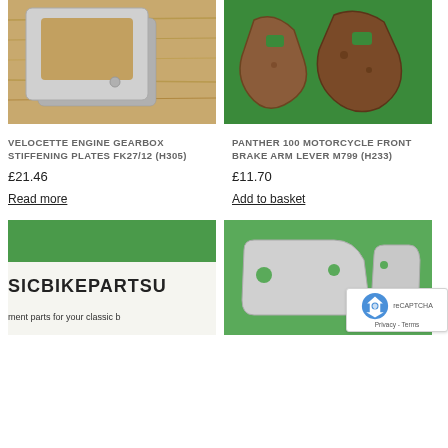[Figure (photo): Photo of Velocette engine gearbox stiffening plates on a wooden surface - grey metal bracket-shaped plates]
[Figure (photo): Photo of Panther 100 motorcycle front brake arm lever on green background - two brown/rusty metal levers with holes]
VELOCETTE ENGINE GEARBOX STIFFENING PLATES FK27/12 (H305)
PANTHER 100 MOTORCYCLE FRONT BRAKE ARM LEVER M799 (H233)
£21.46
£11.70
Read more
Add to basket
[Figure (photo): Partial photo of classic bike parts supplier branding - green and white sign reading SICBIKEPARTSU and 'ment parts for your classic b']
[Figure (photo): Photo of small grey metal engine parts on green background - appears to be stiffening plates similar to the Velocette parts]